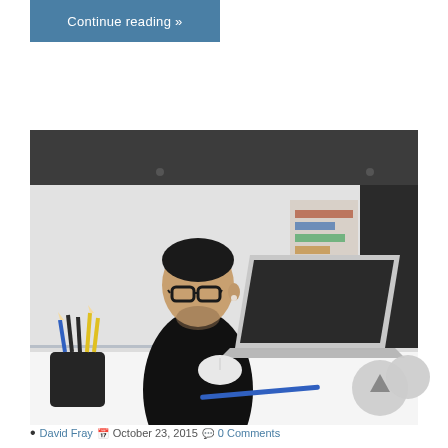Continue reading »
[Figure (photo): A young man with glasses and a beard, wearing a black sweater, sitting at a white desk looking at an open laptop. A pencil holder with pencils is on the left side of the desk. The background shows a blurred modern office interior.]
David Fray  October 23, 2015  0 Comments